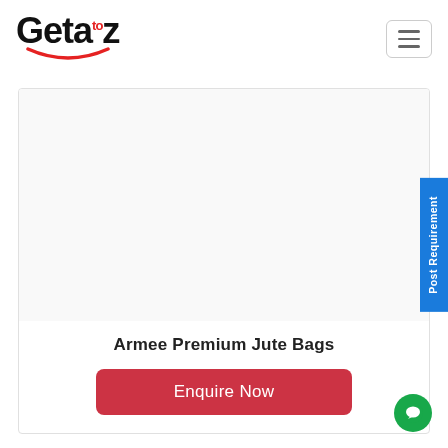Geta'z — navigation header with logo and hamburger menu
[Figure (logo): Getaz logo: bold black 'Geta' text, red superscript 'to', bold black 'z', with a red smile arc beneath]
[Figure (screenshot): Product image area (blank/white) for Armee Premium Jute Bags]
Armee Premium Jute Bags
Enquire Now
Post Requirement
[Figure (illustration): Green circular chat/message bubble button in bottom-right corner]